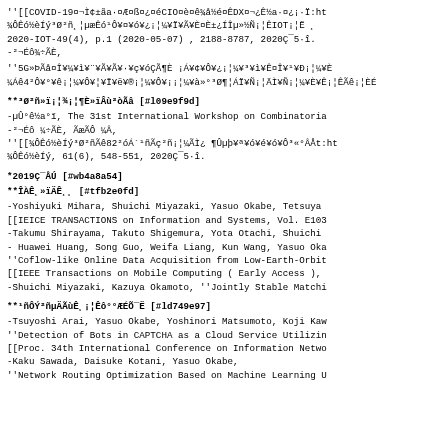''[[COVID-19¤¬Ì¢±ãa·¤Æ¤ß¤¿¤éCIO¤è¤ê¾å½é¤ÊDX¤¬¿Ê½a·¤¿¡·Ï:ht¾ÔÊó½èÍý³Ø²ñ¸¦µæÊó¹Ô¥¤¥ó¥¿¡¦¼¥Ï¥Ã¥È¤È±¿ÍÎµ»½Ñ¡¦ÊIOT¡¦Ë¸2020-IOT-49(4), p.1 (2020-05-07) , 2188-8787, 2020Ç¯5·î.-²¬Éô¾÷ÃÈ,
''5G»ÞÃå¤Î¥¼¥ì¥¨¥Ã¥Ã¥·¥ç¥óÇÃ¶È ¡Á¥¢¥Ô¥¿¡¦¼¥³¥ì¥Ê¤Î¥¹¥Ð¡¦¼¥È¼Áê4²Ô¥°¥ê¡¦¼¥Ô¥¦¥Ï¥ë¥®¡¦¼¥Ô¥¡¡¦¼¥à»°³Ø¶¦ÁÏ¥Ñ¡¦ÄÌ¥Ñ¡¦¼¥È¥Ê¡¦ÊÃê¡¦ÈÉ
**³Ø²ñ»ï¡¦¾¡¦¶È»ïÂù²òÃâ [#l09e9f9d]
-µÛ°ê½a°ï, The 31st International Workshop on Combinatoria-²¬Éô ¼÷ÃÈ, ÃæÃÔ ¼Â,''[[¾ÔÊó½èÍý³Ø²ñÃê82²óÁ´¹ñÃç²ñ¡¦¼ÃÌ¿ ¶Ûµþ¥ª¥ó¥é¥ó¥Ô³«°ÂÅt:ht¾ÔÊó½èÍý, 61(6), 548-551, 2020Ç¯5·î.
*2019Ç¯ÅÚ [#wb4a8a54]
**ÎÀÊ¸»ïÄÊ¸¸ [#tfb2e0fd]
-Yoshiyuki Mihara, Shuichi Miyazaki, Yasuo Okabe, Tetsuya[[IEICE TRANSACTIONS on Information and Systems, Vol. E103-Takumu Shirayama, Takuto Shigemura, Yota Otachi, Shuichi- Huawei Huang, Song Guo, Weifa Liang, Kun Wang, Yasuo Oka''Coflow-like Online Data Acquisition from Low-Earth-Orbit[[IEEE Transactions on Mobile Computing ( Early Access ),-Shuichi Miyazaki, Kazuya Okamoto, ''Jointly Stable Matchi
**¹ñÔÝ²ñµÄÃùÊ¸¡¦Êô°°ÆÉÕ¯Ë [#ld749e97]
-Tsuyoshi Arai, Yasuo Okabe, Yoshinori Matsumoto, Koji Kaw''Detection of Bots in CAPTCHA as a Cloud Service Utilizin[[Proc. 34th International Conference on Information Netwo-Kaku Sawada, Daisuke Kotani, Yasuo Okabe,''Network Routing Optimization Based on Machine Learning U